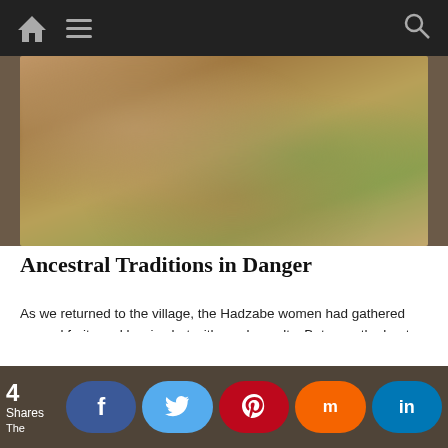Navigation bar with home, menu, and search icons
[Figure (photo): Blurred outdoor photo showing warm earthy tones, likely a village or natural landscape scene]
Ancestral Traditions in Danger
As we returned to the village, the Hadzabe women had gathered several fruits and berries but with weak results. Between the hunt and the foraging, the result was impressively little and not enough to sustain the tribe. However, it is said Hadzabe do not encounter famine, being able to find substance regularly, even if on the limited scale.
4 shares  The
Social share buttons: Facebook, Twitter, Pinterest, Mix, LinkedIn